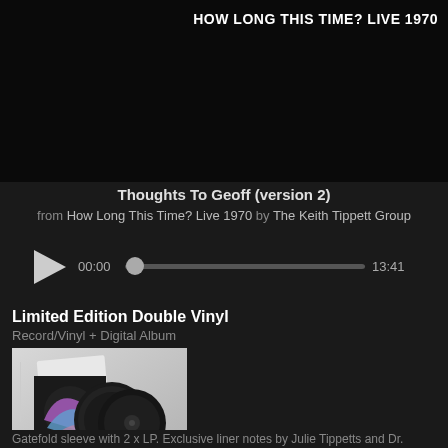[Figure (screenshot): Dark album art background with text 'HOW LONG THIS TIME? LIVE 1970' in top right]
Thoughts To Geoff (version 2)
from How Long This Time? Live 1970 by The Keith Tippett Group
[Figure (screenshot): Audio player with play button, progress bar showing 00:00 to 13:41]
Limited Edition Double Vinyl
Record/Vinyl + Digital Album
[Figure (photo): Photo of double vinyl record product with gatefold sleeve and two black vinyl records on light grey background]
Gatefold sleeve with 2 x LP. Exclusive liner notes by Julie Tippetts and Dr.